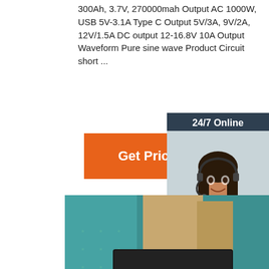300Ah, 3.7V, 270000mah Output AC 1000W, USB 5V-3.1A Type C Output 5V/3A, 9V/2A, 12V/1.5A DC output 12-16.8V 10A Output Waveform Pure sine wave Product Circuit short ...
[Figure (other): Orange 'Get Price' button]
[Figure (other): 24/7 Online chat widget with customer service representative photo, 'Click here for free chat!' text, and orange QUOTATION button]
[Figure (photo): Product photo showing a black portable power station device with connectors, placed on a teal/green surface with cardboard packaging visible in background]